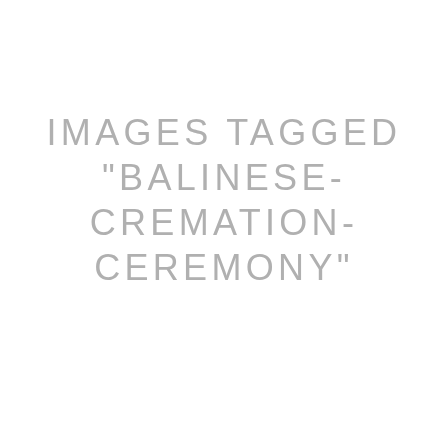IMAGES TAGGED "BALINESE-CREMATION-CEREMONY"